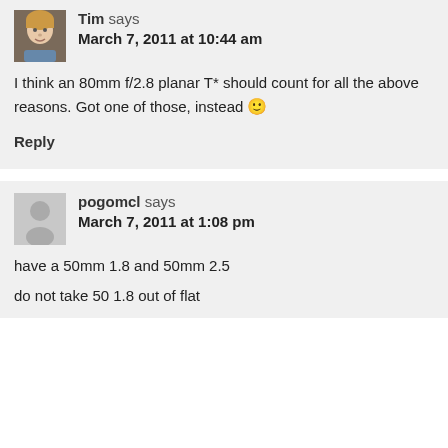Tim says
March 7, 2011 at 10:44 am
I think an 80mm f/2.8 planar T* should count for all the above reasons. Got one of those, instead 🙂
Reply
pogomcl says
March 7, 2011 at 1:08 pm
have a 50mm 1.8 and 50mm 2.5
do not take 50 1.8 out of flat